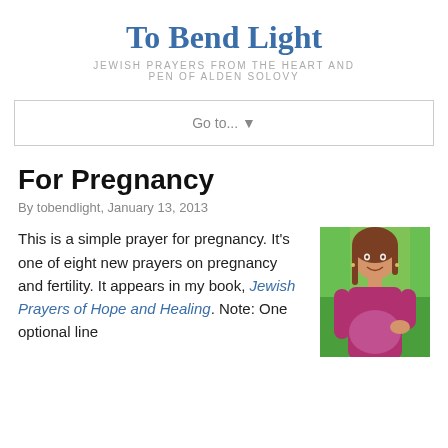To Bend Light
JEWISH PRAYERS FROM THE HEART AND PEN OF ALDEN SOLOVY
Go to...  ▼
For Pregnancy
By tobendlight, January 13, 2013
This is a simple prayer for pregnancy. It's one of eight new prayers on pregnancy and fertility. It appears in my book, Jewish Prayers of Hope and Healing. Note: One optional line
[Figure (photo): Photo of a smiling pregnant woman in a pink/magenta top, outdoors with green background]